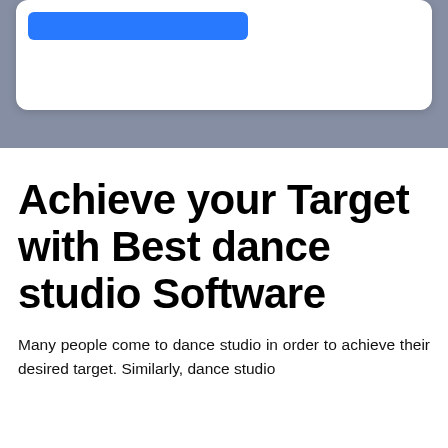[Figure (screenshot): Top section with a grey/blue-grey background containing a white rounded card. The card shows a blue button/bar element at the top left.]
Achieve your Target with Best dance studio Software
Many people come to dance studio in order to achieve their desired target. Similarly, dance studio